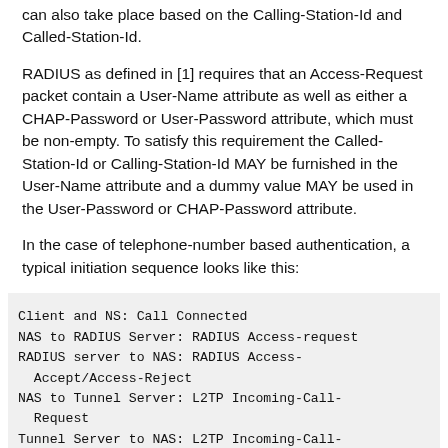can also take place based on the Calling-Station-Id and Called-Station-Id.
RADIUS as defined in [1] requires that an Access-Request packet contain a User-Name attribute as well as either a CHAP-Password or User-Password attribute, which must be non-empty. To satisfy this requirement the Called-Station-Id or Calling-Station-Id MAY be furnished in the User-Name attribute and a dummy value MAY be used in the User-Password or CHAP-Password attribute.
In the case of telephone-number based authentication, a typical initiation sequence looks like this:
Client and NS: Call Connected
    NAS to RADIUS Server: RADIUS Access-request
    RADIUS server to NAS: RADIUS Access-Accept/Access-Reject
    NAS to Tunnel Server: L2TP Incoming-Call-Request
    Tunnel Server to NAS: L2TP Incoming-Call-